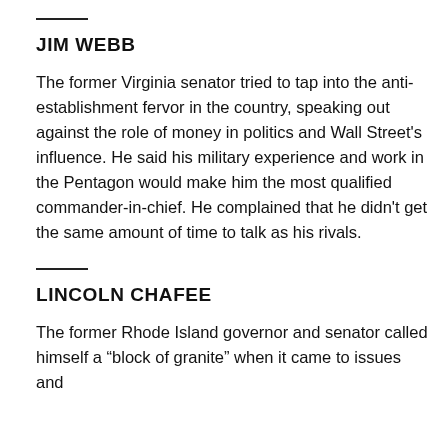JIM WEBB
The former Virginia senator tried to tap into the anti-establishment fervor in the country, speaking out against the role of money in politics and Wall Street’s influence. He said his military experience and work in the Pentagon would make him the most qualified commander-in-chief. He complained that he didn’t get the same amount of time to talk as his rivals.
LINCOLN CHAFEE
The former Rhode Island governor and senator called himself a “block of granite” when it came to issues and